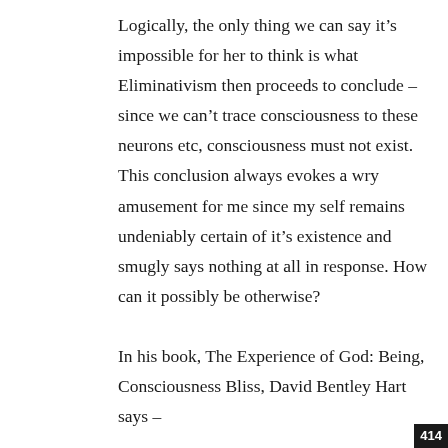Logically, the only thing we can say it's impossible for her to think is what Eliminativism then proceeds to conclude – since we can't trace consciousness to these neurons etc, consciousness must not exist. This conclusion always evokes a wry amusement for me since my self remains undeniably certain of it's existence and smugly says nothing at all in response. How can it possibly be otherwise?
In his book, The Experience of God: Being, Consciousness Bliss, David Bentley Hart says –
“We have reached a point of almost mystically fundamentalist absurdism. Even so, what is really astonishing here is not that some extreme proponents of naturalist thought accept such ideas but that any person o
414